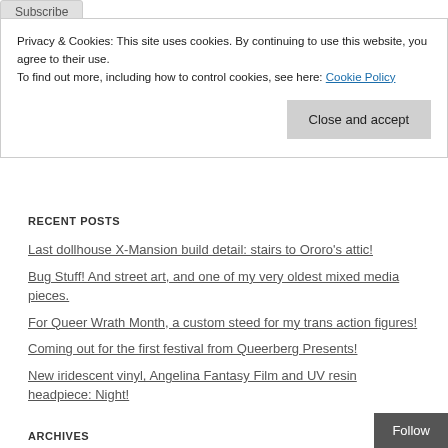Subscribe
Privacy & Cookies: This site uses cookies. By continuing to use this website, you agree to their use. To find out more, including how to control cookies, see here: Cookie Policy
Close and accept
RECENT POSTS
Last dollhouse X-Mansion build detail: stairs to Ororo's attic!
Bug Stuff! And street art, and one of my very oldest mixed media pieces.
For Queer Wrath Month, a custom steed for my trans action figures!
Coming out for the first festival from Queerberg Presents!
New iridescent vinyl, Angelina Fantasy Film and UV resin headpiece: Night!
ARCHIVES
Follow